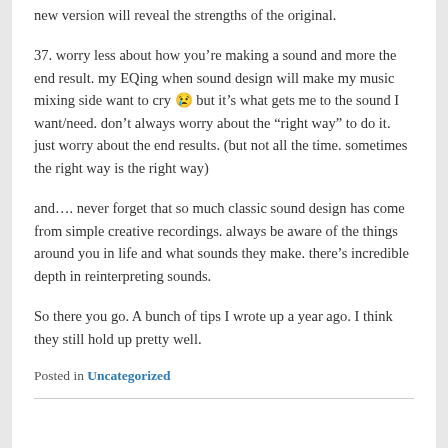new version will reveal the strengths of the original.
37. worry less about how you’re making a sound and more the end result. my EQing when sound design will make my music mixing side want to cry 😢 but it’s what gets me to the sound I want/need. don’t always worry about the “right way” to do it. just worry about the end results. (but not all the time. sometimes the right way is the right way)
and…. never forget that so much classic sound design has come from simple creative recordings. always be aware of the things around you in life and what sounds they make. there’s incredible depth in reinterpreting sounds.
So there you go. A bunch of tips I wrote up a year ago. I think they still hold up pretty well.
Posted in Uncategorized